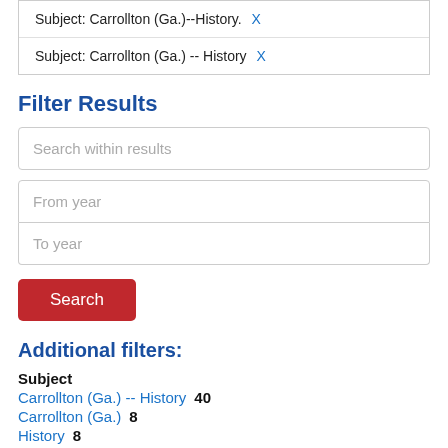| Subject: Carrollton (Ga.)--History. X |
| Subject: Carrollton (Ga.) -- History X |
Filter Results
Search within results
From year
To year
Search
Additional filters:
Subject
Carrollton (Ga.) -- History  40
Carrollton (Ga.)  8
History  8
Carroll County (Ga.) -- History  6